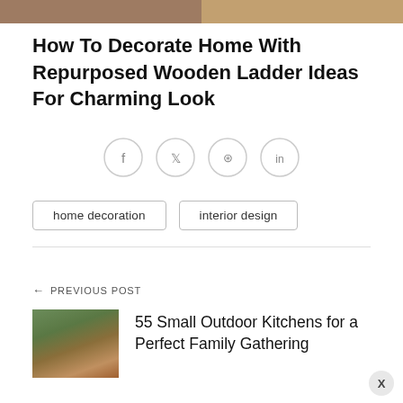[Figure (photo): Top portion of a collage photo of home decorations with wooden ladder, cropped at top of page]
How To Decorate Home With Repurposed Wooden Ladder Ideas For Charming Look
[Figure (infographic): Social sharing buttons: Facebook, Twitter, Pinterest, LinkedIn — circular outlined icons in a row]
home decoration
interior design
← PREVIOUS POST
[Figure (photo): Thumbnail photo of a small outdoor kitchen with greenery]
55 Small Outdoor Kitchens for a Perfect Family Gathering